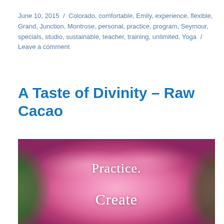June 10, 2015 / Colorado, comfortable, Emily, experience, flexible, Grand, Junction, Montrose, personal, practice, program, Seymour, specials, studio, sustainable, teacher, training, unlimited, Yoga / Leave a comment
A Taste of Divinity – Raw Cacao
[Figure (photo): A close-up photo of a large pink rose/peony flower in bloom with green foliage on the left and blurred dark background on the right. White italic text overlaid reads 'Practice' and 'Create'.]